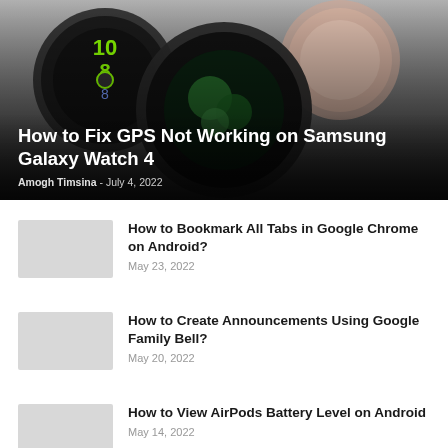[Figure (photo): Samsung Galaxy Watch 4 smartwatches displayed against a dark gradient background]
How to Fix GPS Not Working on Samsung Galaxy Watch 4
Amogh Timsina - July 4, 2022
How to Bookmark All Tabs in Google Chrome on Android?
May 23, 2022
How to Create Announcements Using Google Family Bell?
May 20, 2022
How to View AirPods Battery Level on Android
May 14, 2022